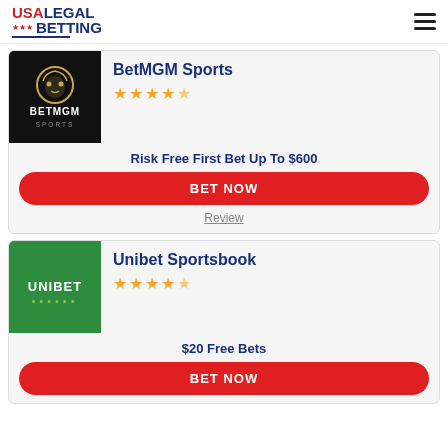USA LEGAL BETTING
[Figure (logo): BetMGM Sports logo on black background with lion head icon]
BetMGM Sports
★★★★½ (4.5 stars)
Risk Free First Bet Up To $600
BET NOW
Review
[Figure (logo): Unibet Sportsbook logo on green background with white text and green dots]
Unibet Sportsbook
★★★★½ (4.5 stars)
$20 Free Bets
BET NOW (partial)